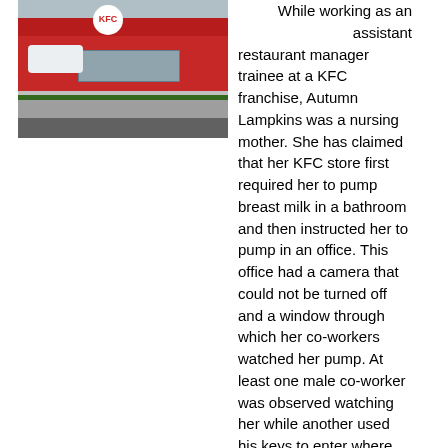[Figure (photo): Exterior photograph of a KFC franchise restaurant building with red facade, parking lot, and a white car visible.]
While working as an assistant restaurant manager trainee at a KFC franchise, Autumn Lampkins was a nursing mother. She has claimed that her KFC store first required her to pump breast milk in a bathroom and then instructed her to pump in an office. This office had a camera that could not be turned off and a window through which her co-workers watched her pump. At least one male co-worker was observed watching her while another used his keys to enter where she was pumping on two occasions. Ms. Lampkin wanted to pump every two hours but her supervisor would only allow it once during her ten-hour shift.
After other employees complained about her breaks to pump, she was transferred to another store and her pay was cut. Circumstances did not improve at her new location. Once again, she had to pump in an office with a camera and a window and once again other employees watched and entered while she did it. In addition, her hours were reduced. The other employees complained about her pumping breaks and her supervisor discouraged her from pumping. Ms. Lampkins quit because she believed that her supervisor was about to fire her because of a customer issue.